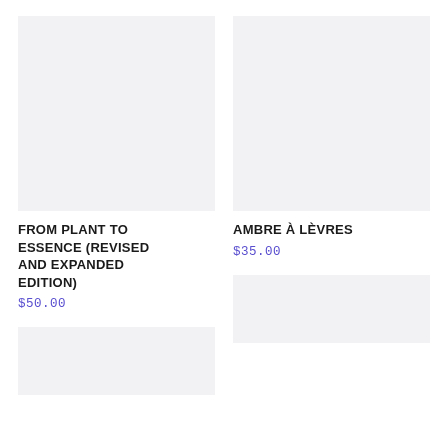[Figure (other): Product image placeholder - light grey rectangle for 'From Plant to Essence (Revised and Expanded Edition)']
FROM PLANT TO ESSENCE (REVISED AND EXPANDED EDITION)
$50.00
[Figure (other): Product image placeholder - light grey rectangle for 'Ambre À Lèvres']
AMBRE À LÈVRES
$35.00
[Figure (other): Product image placeholder - light grey rectangle partial at bottom left]
[Figure (other): Product image placeholder - light grey rectangle partial at bottom right]